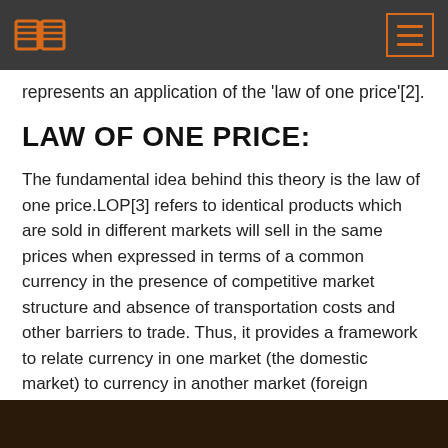represents an application of the 'law of one price'[2].
LAW OF ONE PRICE:
The fundamental idea behind this theory is the law of one price.LOP[3] refers to identical products which are sold in different markets will sell in the same prices when expressed in terms of a common currency in the presence of competitive market structure and absence of transportation costs and other barriers to trade. Thus, it provides a framework to relate currency in one market (the domestic market) to currency in another market (foreign market).In algebraic form, LOP posits that for any good i: p
[Figure (photo): Dark image at the bottom of the page, partially visible]